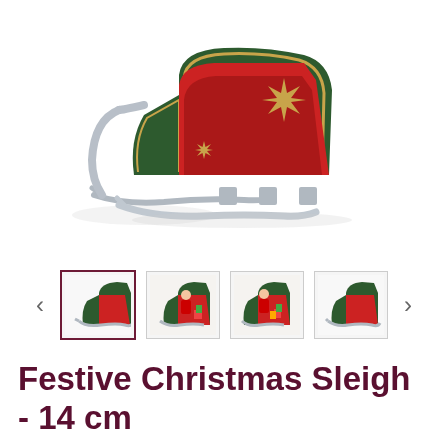[Figure (photo): A decorative green Christmas sleigh with red interior, gold star/snowflake motifs, and silver runners, photographed on white background]
[Figure (photo): Thumbnail carousel with four small images of the Christmas sleigh, including one with Santa figure and gifts, with left and right navigation arrows]
Festive Christmas Sleigh - 14 cm